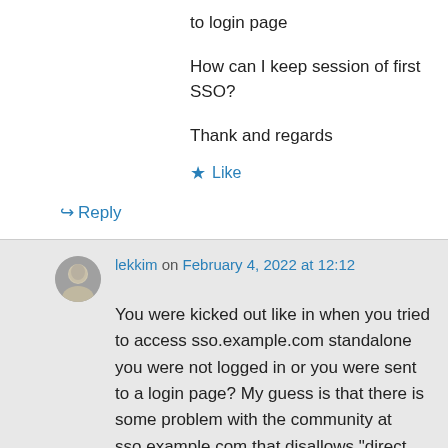to login page
How can I keep session of first SSO?
Thank and regards
★ Like
↪ Reply
lekkim on February 4, 2022 at 12:12
You were kicked out like in when you tried to access sso.example.com standalone you were not logged in or you were sent to a login page? My guess is that there is some problem with the community at sso.example.com that disallows "direct